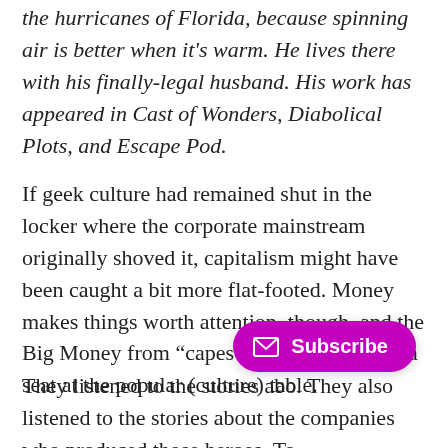the hurricanes of Florida, because spinning air is better when it's warm. He lives there with his finally-legal husband. His work has appeared in Cast of Wonders, Diabolical Plots, and Escape Pod.
If geek culture had remained shut in the locker where the corporate mainstream originally shoved it, capitalism might have been caught a bit more flat-footed. Money makes things worth attention, though, and the Big Money from “capes and cowls” gave it a seat at the popular (culture) table.
They listened to the stories abo…. They also listened to the stories about the companies who produced those heroes. To